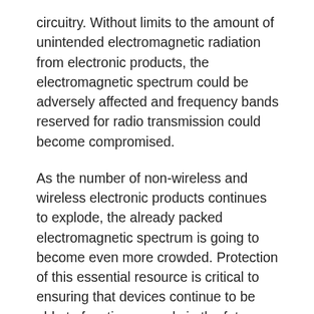circuitry. Without limits to the amount of unintended electromagnetic radiation from electronic products, the electromagnetic spectrum could be adversely affected and frequency bands reserved for radio transmission could become compromised.
As the number of non-wireless and wireless electronic products continues to explode, the already packed electromagnetic spectrum is going to become even more crowded. Protection of this essential resource is critical to ensuring that devices continue to be able to function properly in the future.
2 Safety